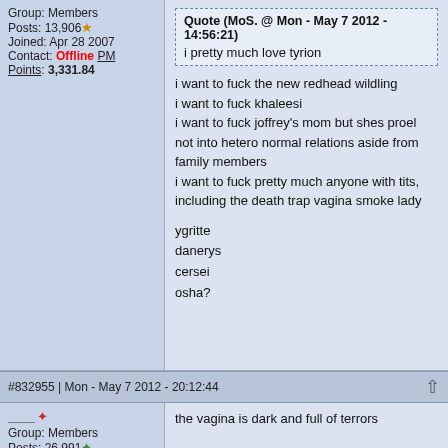Group: Members
Posts: 13,906
Joined: Apr 28 2007
Contact: Offline PM
Points: 3,331.84
Quote (MoS. @ Mon - May 7 2012 - 14:56:21)
i pretty much love tyrion
i want to fuck the new redhead wildling
i want to fuck khaleesi
i want to fuck joffrey's mom but shes proel not into hetero normal relations aside from family members
i want to fuck pretty much anyone with tits, including the death trap vagina smoke lady
ygritte
danerys
cersei
osha?
#832955 | Mon - May 7 2012 - 20:12:44
Group: Members
Posts: 26,991
Joined: Aug 30 2006
Contact: Offline PM
Points: 1,959.52
the vagina is dark and full of terrors
#832961 | Mon - May 7 2012 - 20:36:11
Group: Members
Posts: 26,991
[Figure (line-chart): Partial line chart visible at bottom of page, green lines on yellow background]